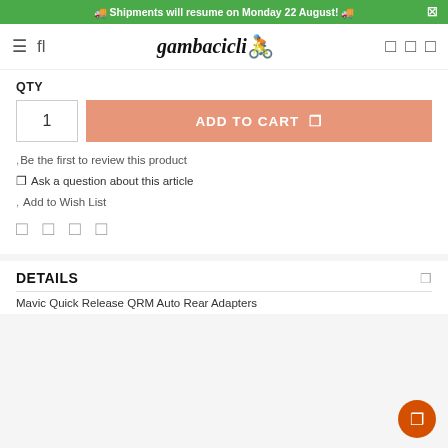🚚 Shipments will resume on Monday 22 August! 🚚
[Figure (logo): Gambacicli logo with italic text and orange cyclist icon]
QTY
1
ADD TO CART
Be the first to review this product
Ask a question about this article
Add to Wish List
DETAILS
Mavic Quick Release QRM Auto Rear Adapters